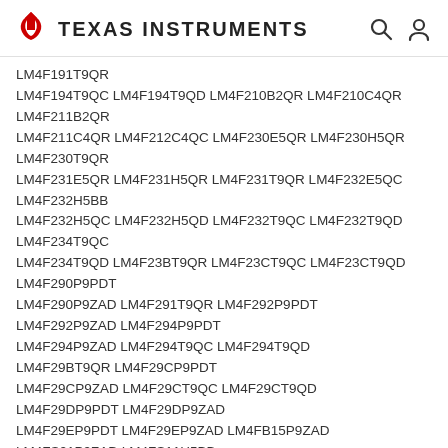Texas Instruments
LM4F191T9QR
LM4F194T9QC LM4F194T9QD LM4F210B2QR LM4F210C4QR
LM4F211B2QR
LM4F211C4QR LM4F212C4QC LM4F230E5QR LM4F230H5QR
LM4F230T9QR
LM4F231E5QR LM4F231H5QR LM4F231T9QR LM4F232E5QC
LM4F232H5BB
LM4F232H5QC LM4F232H5QD LM4F232T9QC LM4F232T9QD
LM4F234T9QC
LM4F234T9QD LM4F23BT9QR LM4F23CT9QC LM4F23CT9QD
LM4F290P9PDT
LM4F290P9ZAD LM4F291T9QR LM4F292P9PDT
LM4F292P9ZAD LM4F294P9PDT
LM4F294P9ZAD LM4F294T9QC LM4F294T9QD
LM4F29BT9QR LM4F29CP9PDT
LM4F29CP9ZAD LM4F29CT9QC LM4F29CT9QD
LM4F29DP9PDT LM4F29DP9ZAD
LM4F29EP9PDT LM4F29EP9ZAD LM4FB15P9ZAD
LM4FS01P9ZAD LM4FS11H5BB
LM4FS19H5BB LM4FS1AH5BB LM4FS1BH5BB
LM4FS1GE5BB LM4FS1GH5BB